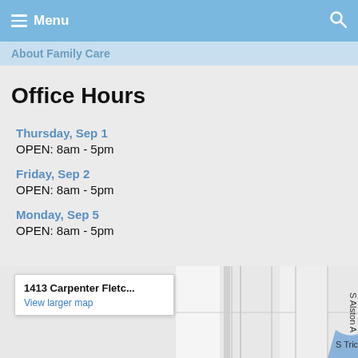Menu
About Family Care
Office Hours
Thursday, Sep 1
OPEN: 8am - 5pm
Friday, Sep 2
OPEN: 8am - 5pm
Monday, Sep 5
OPEN: 8am - 5pm
[Figure (map): Google Maps snippet showing location near 1413 Carpenter Fletc... with roads S Alston A and S Tricent visible. A popup shows the address and a View larger map link.]
1413 Carpenter Fletc...
View larger map